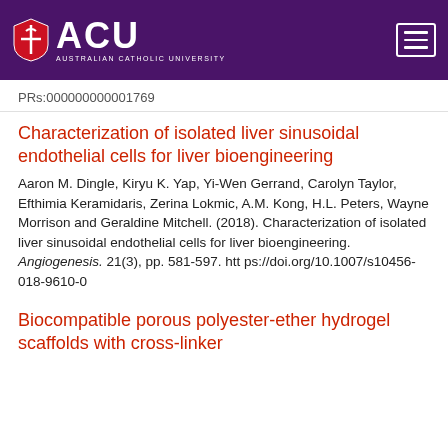[Figure (logo): Australian Catholic University (ACU) logo with purple header background, shield icon, ACU text, and hamburger menu button]
PRs:000000000001769
Characterization of isolated liver sinusoidal endothelial cells for liver bioengineering
Aaron M. Dingle, Kiryu K. Yap, Yi-Wen Gerrand, Carolyn Taylor, Efthimia Keramidaris, Zerina Lokmic, A.M. Kong, H.L. Peters, Wayne Morrison and Geraldine Mitchell. (2018). Characterization of isolated liver sinusoidal endothelial cells for liver bioengineering. Angiogenesis. 21(3), pp. 581-597. https://doi.org/10.1007/s10456-018-9610-0
Biocompatible porous polyester-ether hydrogel scaffolds with cross-linker